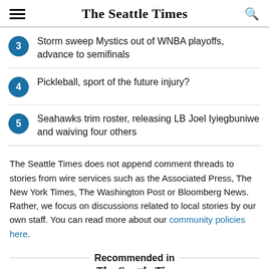The Seattle Times
Storm sweep Mystics out of WNBA playoffs, advance to semifinals
Pickleball, sport of the future injury?
Seahawks trim roster, releasing LB Joel Iyiegbuniwe and waiving four others
The Seattle Times does not append comment threads to stories from wire services such as the Associated Press, The New York Times, The Washington Post or Bloomberg News. Rather, we focus on discussions related to local stories by our own staff. You can read more about our community policies here.
Recommended in